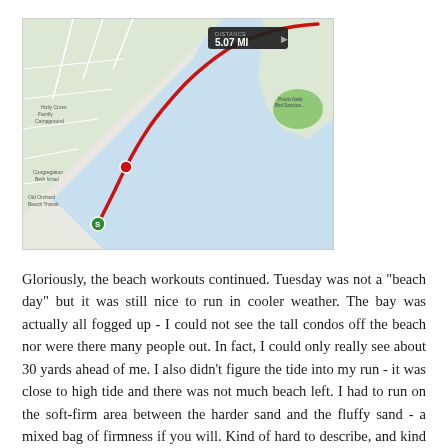[Figure (map): A running route map showing a coastal area with a red curved path along the beach/bay. A distance label reads '5.07 MI' in a dark tooltip box in the upper right area of the map. The route runs along the shoreline with water (blue) on the right and land with street detail on the left.]
Gloriously, the beach workouts continued.  Tuesday was not a "beach day" but it was still nice to run in cooler weather.  The bay was actually all fogged up - I could not see the tall condos off the beach nor were there many people out.  In fact, I could only really see about 30 yards ahead of me.  I also didn't figure the tide into my run - it was close to high tide and there was not much beach left.  I had to run on the soft-firm area between the harder sand and the fluffy sand - a mixed bag of firmness if you will.  Kind of hard to describe, and kind of hard to run on...I was playing dodge the waves quite a bit.  Definitely got my shoes wet a few times, but it also made for an exciting run.  Because